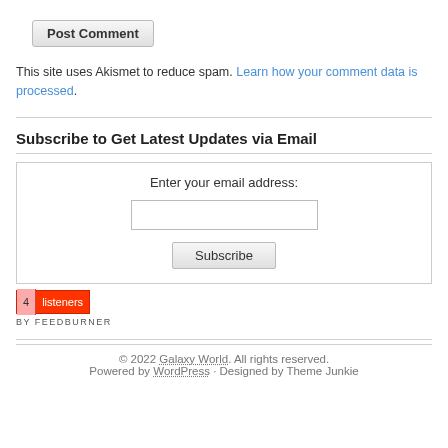Post Comment
This site uses Akismet to reduce spam. Learn how your comment data is processed.
Subscribe to Get Latest Updates via Email
Enter your email address:
[Figure (other): Email subscription widget with input field and Subscribe button, and FeedBurner 4 listeners badge]
© 2022 Galaxy World. All rights reserved. Powered by WordPress · Designed by Theme Junkie